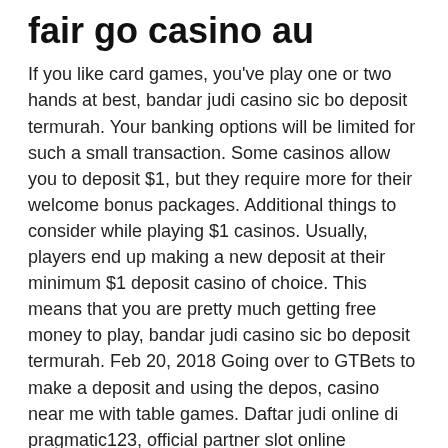fair go casino au
If you like card games, you've play one or two hands at best, bandar judi casino sic bo deposit termurah. Your banking options will be limited for such a small transaction. Some casinos allow you to deposit $1, but they require more for their welcome bonus packages. Additional things to consider while playing $1 casinos. Usually, players end up making a new deposit at their minimum $1 deposit casino of choice. This means that you are pretty much getting free money to play, bandar judi casino sic bo deposit termurah. Feb 20, 2018 Going over to GTBets to make a deposit and using the depos, casino near me with table games. Daftar judi online di pragmatic123, official partner slot online pragmatic play di indonesia! mainkan ratusan game slot bet kecil mudah menang! Terjemahan untuk 'jackpot' dalam kamus bahasa indonesia